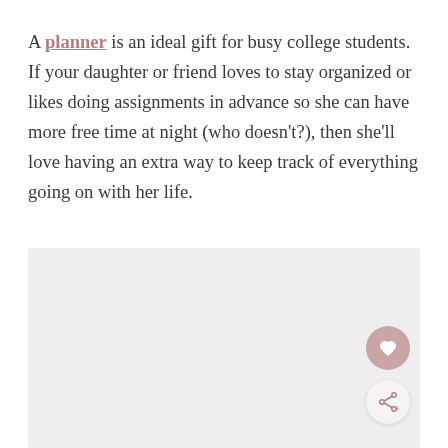A planner is an ideal gift for busy college students. If your daughter or friend loves to stay organized or likes doing assignments in advance so she can have more free time at night (who doesn't?), then she'll love having an extra way to keep track of everything going on with her life.
[Figure (photo): Light gray/beige placeholder image area with a heart icon button and a share icon button overlaid at the bottom-right corner.]